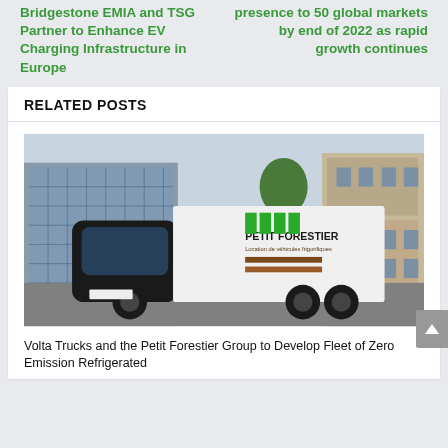Bridgestone EMIA and TSG Partner to Enhance EV Charging Infrastructure in Europe
presence to 50 global markets by end of 2022 as rapid growth continues
RELATED POSTS
[Figure (photo): A Volta Trucks zero-emission electric truck branded with Petit Forestier livery driving on a city street in Paris, with a historic glass building and Haussmann-style architecture in the background.]
Volta Trucks and the Petit Forestier Group to Develop Fleet of Zero Emission Refrigerated